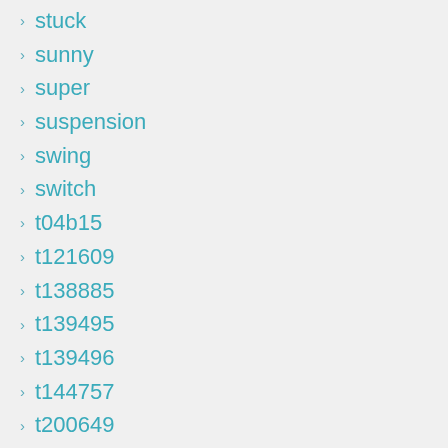stuck
sunny
super
suspension
swing
switch
t04b15
t121609
t138885
t139495
t139496
t144757
t200649
t206271
taking
technical
terrassement
test
testing